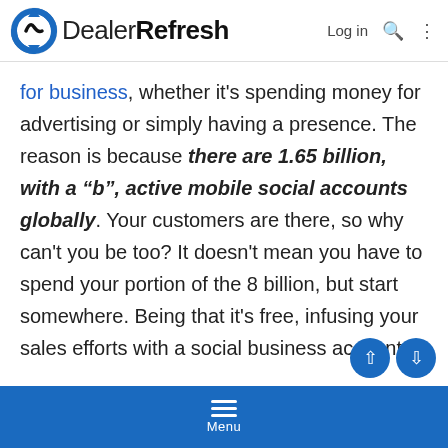DealerRefresh — Log in
for business, whether it's spending money for advertising or simply having a presence. The reason is because there are 1.65 billion, with a “b”, active mobile social accounts globally. Your customers are there, so why can’t you be too? It doesn’t mean you have to spend your portion of the 8 billion, but start somewhere. Being that it’s free, infusing your sales efforts with a social business account that’s active and engaging is a great start.
4. 71% of millennials say it’s important that my car syncs with
Menu